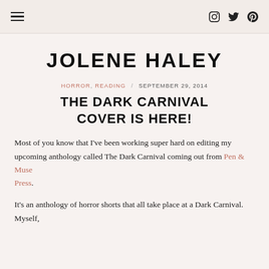☰  [Instagram] [Twitter] [Pinterest]
JOLENE HALEY
HORROR, READING / SEPTEMBER 29, 2014
THE DARK CARNIVAL COVER IS HERE!
Most of you know that I've been working super hard on editing my upcoming anthology called The Dark Carnival coming out from Pen & Muse Press.
It's an anthology of horror shorts that all take place at a Dark Carnival. Myself,